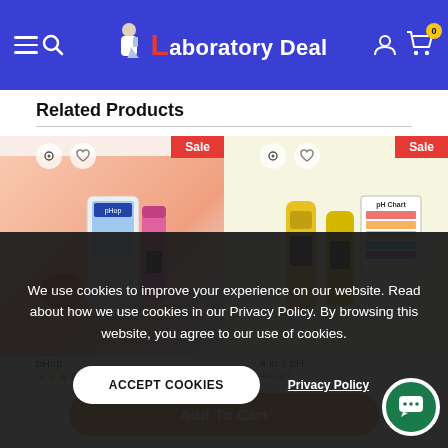Laboratory Deal — navigation header with hamburger menu, search, logo, user icon, and cart (0 items)
Related Products
[Figure (photo): Product card 1: pH meter in packaging with Sale badge, eye and heart icons]
[Figure (photo): Product card 2: Yellow pH meter with pH chart image and Sale badge, eye and heart icons]
We use cookies to improve your experience on our website. Read about how we use cookies in our Privacy Policy. By browsing this website, you agree to our use of cookies.
ACCEPT COOKIES
Privacy Policy
Add To Cart